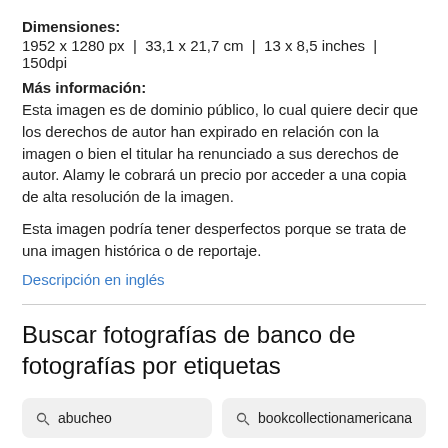Dimensiones: 1952 x 1280 px | 33,1 x 21,7 cm | 13 x 8,5 inches | 150dpi
Más información: Esta imagen es de dominio público, lo cual quiere decir que los derechos de autor han expirado en relación con la imagen o bien el titular ha renunciado a sus derechos de autor. Alamy le cobrará un precio por acceder a una copia de alta resolución de la imagen.
Esta imagen podría tener desperfectos porque se trata de una imagen histórica o de reportaje.
Descripción en inglés
Buscar fotografías de banco de fotografías por etiquetas
abucheo
bookcollectionamericana
bookleafnumber16
librosubjectfishes